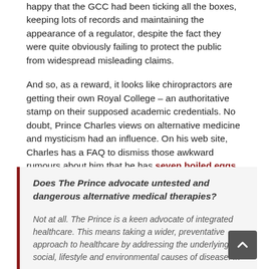happy that the GCC had been ticking all the boxes, keeping lots of records and maintaining the appearance of a regulator, despite the fact they were quite obviously failing to protect the public from widespread misleading claims.
And so, as a reward, it looks like chiropractors are getting their own Royal College – an authoritative stamp on their supposed academic credentials. No doubt, Prince Charles views on alternative medicine and mysticism had an influence. On his web site, Charles has a FAQ to dismiss those awkward  rumours about him that he has seven boiled eggs for breakfast and supports quackery.
Does The Prince advocate untested and dangerous alternative medical therapies?

Not at all. The Prince is a keen advocate of integrated healthcare. This means taking a wider, preventative approach to healthcare by addressing the underlying social, lifestyle and environmental causes of disease. In